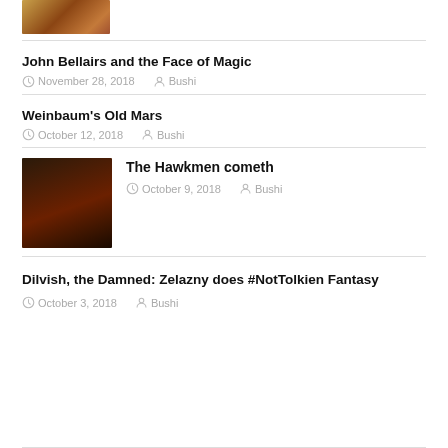[Figure (photo): Partial thumbnail image at top, showing a historical painting or illustration with warm tones]
John Bellairs and the Face of Magic
November 28, 2018 | Bushi
Weinbaum's Old Mars
October 12, 2018 | Bushi
[Figure (photo): Thumbnail image for The Hawkmen cometh, showing dark figures with warm reddish background]
The Hawkmen cometh
October 9, 2018 | Bushi
Dilvish, the Damned: Zelazny does #NotTolkien Fantasy
October 3, 2018 | Bushi